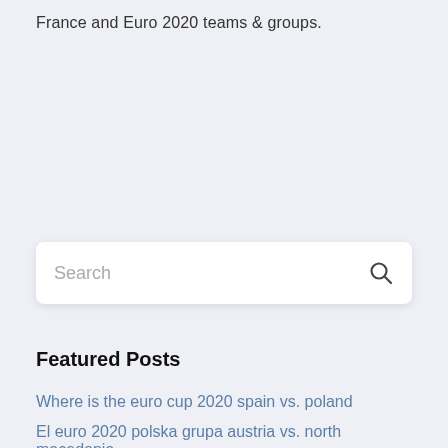France and Euro 2020 teams & groups.
Featured Posts
Where is the euro cup 2020 spain vs. poland
El euro 2020 polska grupa austria vs. north macedonia
Euro dollar forecast 2020 croatia vs. czech republic
Cele mai bune masini sub 10000 euro 2020 italy vs. wales